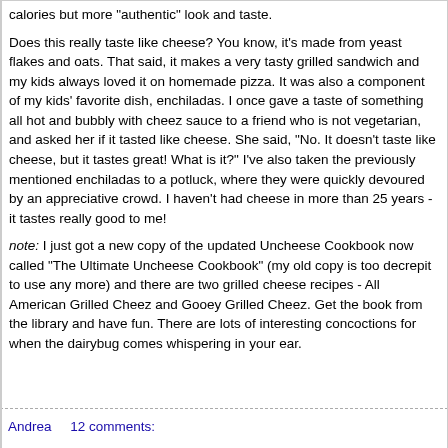...with Earth Balance margarine before toasting with my wok - more calories but more "authentic" look and taste.
Does this really taste like cheese? You know, it's made from yeast flakes and oats. That said, it makes a very tasty grilled sandwich and my kids always loved it on homemade pizza. It was also a component of my kids' favorite dish, enchiladas. I once gave a taste of something all hot and bubbly with cheez sauce to a friend who is not vegetarian, and asked her if it tasted like cheese. She said, "No. It doesn't taste like cheese, but it tastes great! What is it?" I've also taken the previously mentioned enchiladas to a potluck, where they were quickly devoured by an appreciative crowd. I haven't had cheese in more than 25 years - it tastes really good to me!
note: I just got a new copy of the updated Uncheese Cookbook now called "The Ultimate Uncheese Cookbook" (my old copy is too decrepit to use any more) and there are two grilled cheese recipes - All American Grilled Cheez and Gooey Grilled Cheez. Get the book from the library and have fun. There are lots of interesting concoctions for when the dairybug comes whispering in your ear.
Andrea     12 comments: